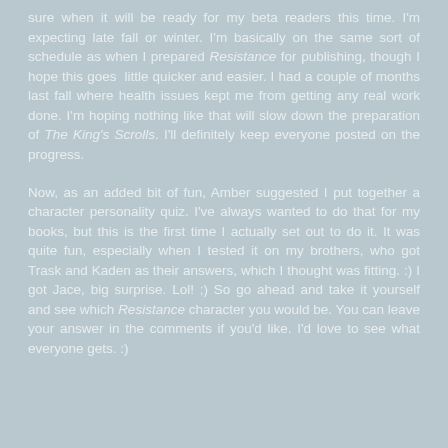sure when it will be ready for my beta readers this time. I'm expecting late fall or winter. I'm basically on the same sort of schedule as when I prepared Resistance for publishing, though I hope this goes  little quicker and easier. I had a couple of months last fall where health issues kept me from getting any real work done. I'm hoping nothing like that will slow down the preparation of The King's Scrolls. I'll definitely keep everyone posted on the progress.
Now, as an added bit of fun, Amber suggested I put together a character personality quiz. I've always wanted to do that for my books, but this is the first time I actually set out to do it. It was quite fun, especially when I tested it on my brothers, who got Trask and Kaden as their answers, which I thought was fitting. :) I got Jace, big surprise. Lol! ;) So go ahead and take it yourself and see which Resistance character you would be. You can leave your answer in the comments if you'd like. I'd love to see what everyone gets. :)